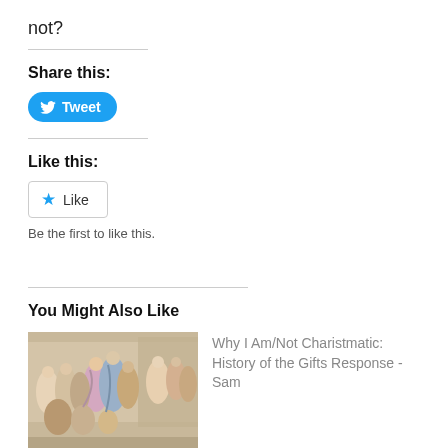not?
Share this:
[Figure (other): Tweet button with Twitter bird icon]
Like this:
[Figure (other): Like button with star icon]
Be the first to like this.
You Might Also Like
[Figure (photo): Classical painting showing Christ healing figures]
Why I Am/Not Charistmatic: History of the Gifts Response - Sam
Were People in Christ's
[Figure (other): Social sharing bar with Facebook and Twitter icons]
Thanks for your careful approach to this